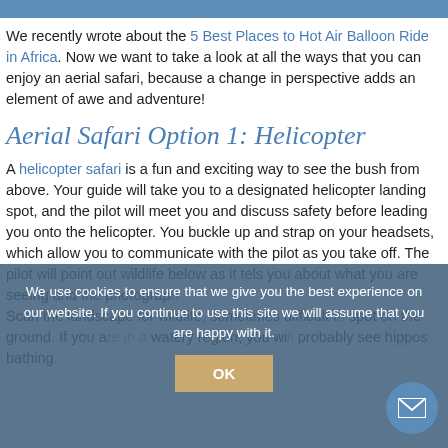We recently wrote about the 5 Best Places to Hot Air Balloon Ride in Africa. Now we want to take a look at all the ways that you can enjoy an aerial safari, because a change in perspective adds an element of awe and adventure!
Aerial Safari Option 1: Helicopter
A helicopter safari is a fun and exciting way to see the bush from above. Your guide will take you to a designated helicopter landing spot, and the pilot will meet you and discuss safety before leading you onto the helicopter. You buckle up and strap on your headsets, which allow you to communicate with the pilot as you take off. The pilot will point out wildlife below as it tells you about what you are seeing and the photography opportunities. Scan the landscape for wildlife, sometimes difficult to spot on the ground. If you are in a watery region, you will probably see hippos bathing.
We use cookies to ensure that we give you the best experience on our website. If you continue to use this site we will assume that you are happy with it.